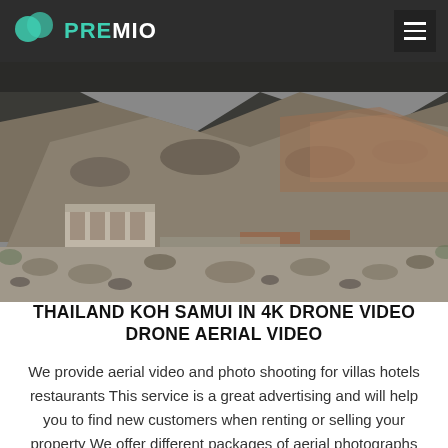PREMIO
[Figure (photo): Aerial/ground-level photo of a rocky quarry or excavation site with a mountainous hillside in the background, construction structures visible, rocks and debris in foreground.]
THAILAND KOH SAMUI IN 4K DRONE VIDEO DRONE AERIAL VIDEO
We provide aerial video and photo shooting for villas hotels restaurants This service is a great advertising and will help you to find new customers when renting or selling your property We offer different packages of aerial photographs including the script the